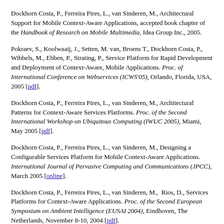Dockhorn Costa, P., Ferreira Pires, L., van Sinderen, M., Architectural Support for Mobile Context-Aware Applications, accepted book chapter of the Handbook of Research on Mobile Multimedia, Idea Group Inc., 2005.
Pokraev, S., Koolwaaij, J., Setten, M. van, Broens T., Dockhorn Costa, P., Wibbels, M., Ebben, P., Strating, P., Service Platform for Rapid Development and Deployment of Context-Aware, Mobile Applications. Proc. of International Conference on Webservices (ICWS'05), Orlando, Florida, USA, 2005 [pdf].
Dockhorn Costa, P., Ferreira Pires, L., van Sinderen, M., Architectural Patterns for Context-Aware Services Platforms. Proc. of the Second International Workshop on Ubiquitous Computing (IWUC 2005), Miami, May 2005 [pdf].
Dockhorn Costa, P., Ferreira Pires, L., van Sinderen, M., Designing a Configurable Services Platform for Mobile Context-Aware Applications. International Journal of Pervasive Computing and Communications (JPCC), March 2005 [online].
Dockhorn Costa, P., Ferreira Pires, L., van Sinderen, M., Rios, D., Services Platforms for Context-Aware Applications. Proc. of the Second European Symposium on Ambient Intelligence (EUSAI 2004), Eindhoven, The Netherlands, November 8-10, 2004 [pdf].
Broens, T., Pokraev, S., van Sinderen, M., Koolwaaij, J., Dockhorn Costa, P., Context-aware, ontology-based, service discovery. Proc. of the Second European Symposium on Ambient Intelligence (EUSAI 2004), Eindhoven, The Netherlands, November 8-10, 2004.